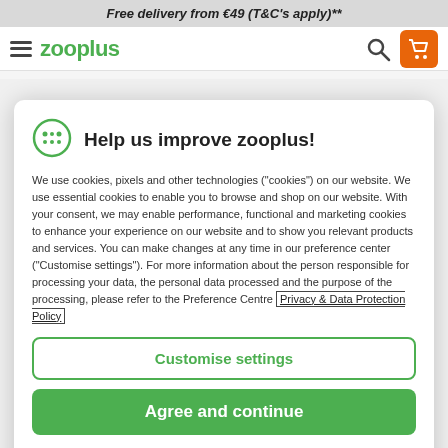Free delivery from €49 (T&C's apply)**
[Figure (logo): zooplus website navigation bar with hamburger menu, zooplus logo, search icon, and orange cart icon]
Help us improve zooplus!
We use cookies, pixels and other technologies ("cookies") on our website. We use essential cookies to enable you to browse and shop on our website. With your consent, we may enable performance, functional and marketing cookies to enhance your experience on our website and to show you relevant products and services. You can make changes at any time in our preference center ("Customise settings"). For more information about the person responsible for processing your data, the personal data processed and the purpose of the processing, please refer to the Preference Centre Privacy & Data Protection Policy
Customise settings
Agree and continue
Only necessary cookies